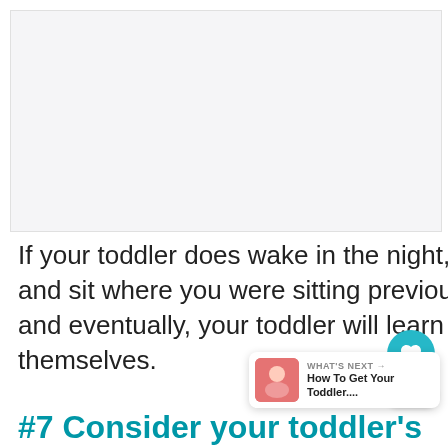[Figure (photo): Placeholder image area at top of page (light gray background)]
If your toddler does wake in the night, repeat the chair method and sit where you were sitting previously. Do this consistently, and eventually, your toddler will learn to fall back to sleep all by themselves.
#7 Consider your toddler's bed